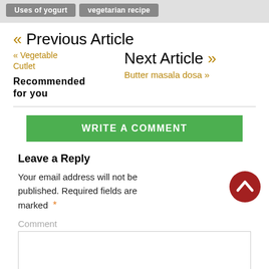Uses of yogurt  vegetarian recipe
« Previous Article
« Vegetable Cutlet   Next Article »   Recommended for you   Butter masala dosa »
WRITE A COMMENT
Leave a Reply
Your email address will not be published. Required fields are marked *
Comment